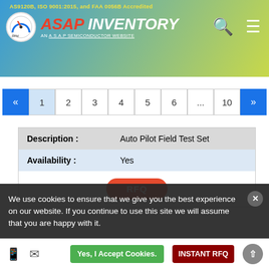AS9120B, ISO 9001:2015, and FAA 0056B Accredited — ASAP INVENTORY AN A.S.A.P SEMICONDUCTOR WEBSITE
« 1 2 3 4 5 6 ... 10 »
| Field | Value |
| --- | --- |
| Description : | Auto Pilot Field Test Set |
| Availability : | Yes |
|  | RFQ |
| Field | Value |
| --- | --- |
| Part No : | IFR-6000 |
| Manufacturer : | AEROFLEX IFR |
| Description : | Multifunction Ramp Test Set |
We use cookies to ensure that we give you the best experience on our website. If you continue to use this site we will assume that you are happy with it.
Yes, I Accept Cookies.   INSTANT RFQ